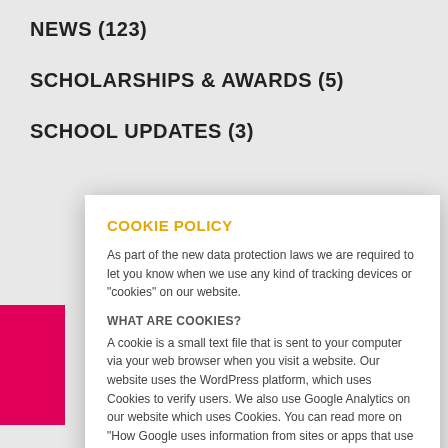NEWS (123)
SCHOLARSHIPS & AWARDS (5)
SCHOOL UPDATES (3)
COOKIE POLICY
As part of the new data protection laws we are required to let you know when we use any kind of tracking devices or "cookies" on our website.
WHAT ARE COOKIES?
A cookie is a small text file that is sent to your computer via your web browser when you visit a website. Our website uses the WordPress platform, which uses Cookies to verify users. We also use Google Analytics on our website which uses Cookies. You can read more on "How Google uses information from sites or apps that use our services" via this link: https://policies.google.com/technologies/partner-sites.
HOW DO I DISABLE COOKIES?
If you do not want to receive a cookie from Our Site, you have the option of setting your browser to notify you when you receive a cookie, so that you may determine whether to accept it or not.
OK